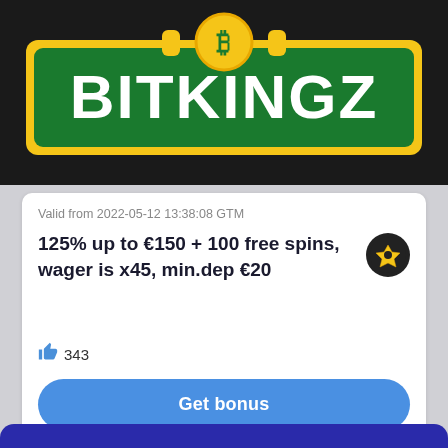[Figure (logo): Bitkingz casino logo on dark background with green and yellow banner and Bitcoin coin graphic]
Valid from 2022-05-12 13:38:08 GTM
125% up to €150 + 100 free spins, wager is x45, min.dep €20
343
Get bonus
T&Cs Apply